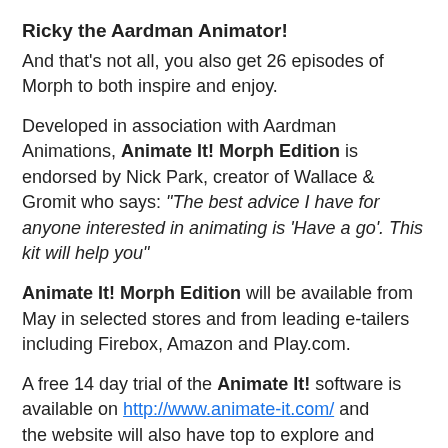Ricky the Aardman Animator!
And that's not all, you also get 26 episodes of Morph to both inspire and enjoy.
Developed in association with Aardman Animations, Animate It! Morph Edition is endorsed by Nick Park, creator of Wallace & Gromit who says: “The best advice I have for anyone interested in animating is ‘Have a go’. This kit will help you”
Animate It! Morph Edition will be available from May in selected stores and from leading e-tailers including Firebox, Amazon and Play.com.
A free 14 day trial of the Animate It! software is available on http://www.animate-it.com/ and the website will also have top to explore and ...